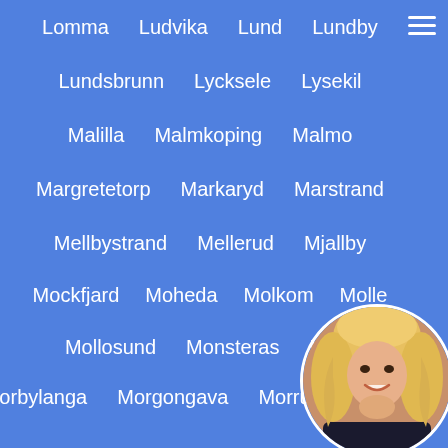Lomma
Ludvika
Lund
Lundby
Lundsbrunn
Lycksele
Lysekil
Malilla
Malmkoping
Malmo
Margretetorp
Markaryd
Marstrand
Mellbystrand
Mellerud
Mjallby
Mockfjard
Moheda
Molkom
Molle
Mollosund
Monsteras
Mora
Morbylanga
Morgongava
Morrum
Motala
Mullsjo
Munkfors
Nassjo
Nordmaling
Nor
Norrtalje
Norsjo
Nusnas
Nybro
[Figure (photo): Circular avatar photo of a blonde woman in a dark outfit]